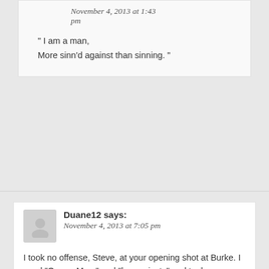November 4, 2013 at 1:43 pm
" I am a man,
More sinn'd against than sinning. "
Duane12 says:
November 4, 2013 at 7:05 pm
I took no offense, Steve, at your opening shot at Burke. I used "Queen Mary" and "her majesty" and took some slings and arrows for my "sexist" statement. If it had been John Burke, I would have used "King John" and "his majesty." I treat all royalty equally regardless of gender. 😉
Maybe it's because as a kid in the Great Depression, my boyhood family was on the dole after my father broke his shoulder in an auto accident. No Badger